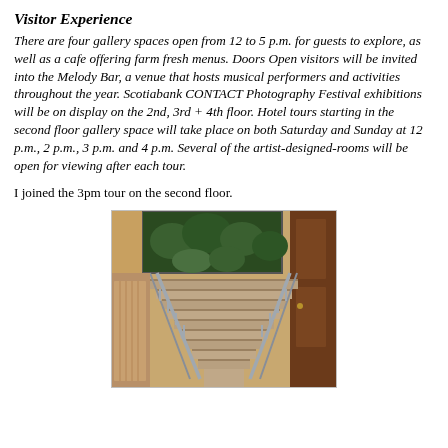Visitor Experience
There are four gallery spaces open from 12 to 5 p.m. for guests to explore, as well as a cafe offering farm fresh menus. Doors Open visitors will be invited into the Melody Bar, a venue that hosts musical performers and activities throughout the year. Scotiabank CONTACT Photography Festival exhibitions will be on display on the 2nd, 3rd + 4th floor. Hotel tours starting in the second floor gallery space will take place on both Saturday and Sunday at 12 p.m., 2 p.m., 3 p.m. and 4 p.m. Several of the artist-designed-rooms will be open for viewing after each tour.
I joined the 3pm tour on the second floor.
[Figure (photo): Interior photograph showing a staircase with metal railings descending, with a large window showing greenery in the background, wooden door on the right, and warm-toned walls.]